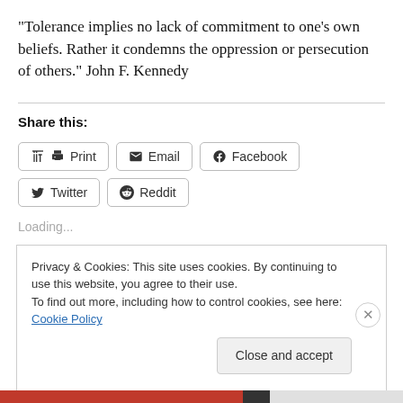“Tolerance implies no lack of commitment to one’s own beliefs. Rather it condemns the oppression or persecution of others.” John F. Kennedy
Share this:
Print | Email | Facebook | Twitter | Reddit
Loading...
Privacy & Cookies: This site uses cookies. By continuing to use this website, you agree to their use.
To find out more, including how to control cookies, see here: Cookie Policy
Close and accept